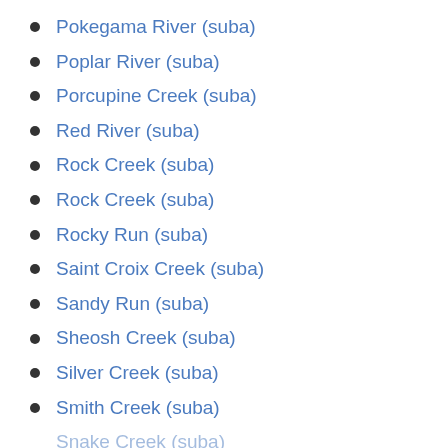Pokegama River (suba)
Poplar River (suba)
Porcupine Creek (suba)
Red River (suba)
Rock Creek (suba)
Rock Creek (suba)
Rocky Run (suba)
Saint Croix Creek (suba)
Sandy Run (suba)
Sheosh Creek (suba)
Silver Creek (suba)
Smith Creek (suba)
Snake Creek (suba)